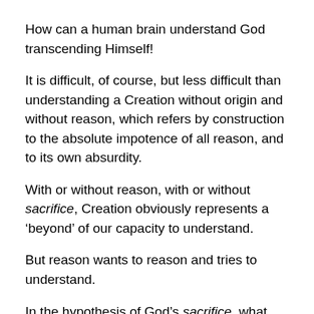How can a human brain understand God transcending Himself!
It is difficult, of course, but less difficult than understanding a Creation without origin and without reason, which refers by construction to the absolute impotence of all reason, and to its own absurdity.
With or without reason, with or without sacrifice, Creation obviously represents a ‘beyond’ of our capacity to understand.
But reason wants to reason and tries to understand.
In the hypothesis of God’s sacrifice, what would be the role of Creation in this divine surpassing?
Would God make a covenant with His Creation, ‘giving’ it,